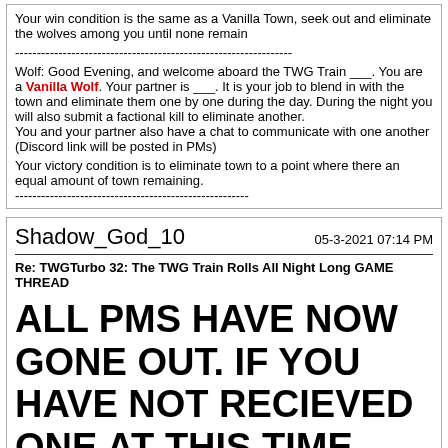Your win condition is the same as a Vanilla Town, seek out and eliminate the wolves among you until none remain
----------------------------------------------------------------
Wolf: Good Evening, and welcome aboard the TWG Train ___. You are a Vanilla Wolf. Your partner is ___. It is your job to blend in with the town and eliminate them one by one during the day. During the night you will also submit a factional kill to eliminate another.
You and your partner also have a chat to communicate with one another (Discord link will be posted in PMs)

Your victory condition is to eliminate town to a point where there an equal amount of town remaining.
------------------------------------------------------
Shadow_God_10    05-3-2021 07:14 PM
Re: TWGTurbo 32: The TWG Train Rolls All Night Long GAME THREAD
ALL PMS HAVE NOW GONE OUT. IF YOU HAVE NOT RECIEVED ONE AT THIS TIME, PLEASE CONTACT ME VIA DISCORD OR PM ASAP